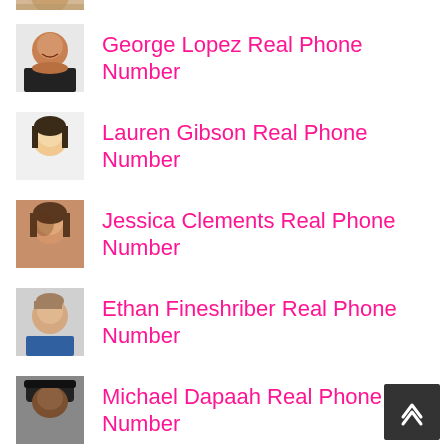[Figure (photo): Partial photo of a person (cropped, only top portion visible) at top of page]
George Lopez Real Phone Number
Lauren Gibson Real Phone Number
Jessica Clements Real Phone Number
Ethan Fineshriber Real Phone Number
Michael Dapaah Real Phone Number